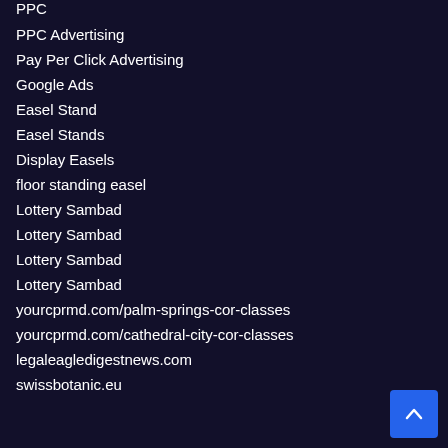PPC
PPC Advertising
Pay Per Click Advertising
Google Ads
Easel Stand
Easel Stands
Display Easels
floor standing easel
Lottery Sambad
Lottery Sambad
Lottery Sambad
Lottery Sambad
yourcprmd.com/palm-springs-cor-classes
yourcprmd.com/cathedral-city-cor-classes
legaleagledigestnews.com
swissbotanic.eu